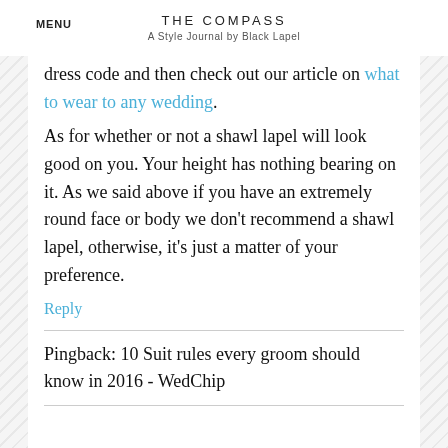MENU  THE COMPASS  A Style Journal by Black Lapel
dress code and then check out our article on what to wear to any wedding.
As for whether or not a shawl lapel will look good on you. Your height has nothing bearing on it. As we said above if you have an extremely round face or body we don't recommend a shawl lapel, otherwise, it's just a matter of your preference.
Reply
Pingback: 10 Suit rules every groom should know in 2016 - WedChip